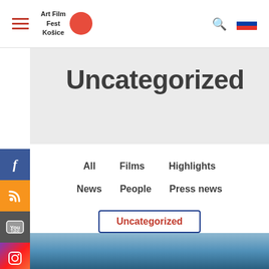Art Film Fest Košice — Navigation bar with hamburger menu, logo, search, and language flag
Uncategorized
All
Films
Highlights
News
People
Press news
Uncategorized
We use cookies to give you the best online experience. By using our website you agree to our use of cookies in accordance with our cookie policy.
[Figure (photo): Partial view of a building or structure under a blue sky, bottom portion of the page]